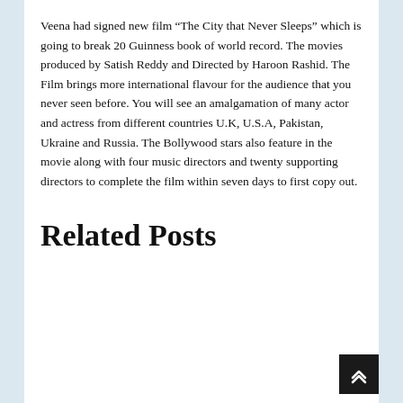Veena had signed new film “The City that Never Sleeps” which is going to break 20 Guinness book of world record. The movies produced by Satish Reddy and Directed by Haroon Rashid. The Film brings more international flavour for the audience that you never seen before. You will see an amalgamation of many actor and actress from different countries U.K, U.S.A, Pakistan, Ukraine and Russia. The Bollywood stars also feature in the movie along with four music directors and twenty supporting directors to complete the film within seven days to first copy out.
Related Posts